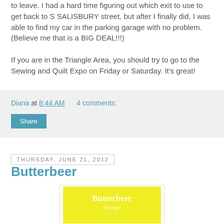to leave. I had a hard time figuring out which exit to use to get back to S SALISBURY street, but after I finally did, I was able to find my car in the parking garage with no problem. (Believe me that is a BIG DEAL!!!)
If you are in the Triangle Area, you should try to go to the Sewing and Quilt Expo on Friday or Saturday. It's great!
Diana at 8:44 AM    4 comments:
Share
Thursday, June 21, 2012
Butterbeer
[Figure (illustration): Yellow background image with white text reading 'Butterbeer Recipe' with decorative elements at the bottom]